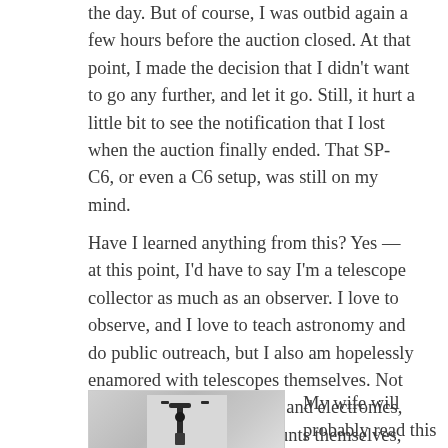the day. But of course, I was outbid again a few hours before the auction closed. At that point, I made the decision that I didn't want to go any further, and let it go. Still, it hurt a little bit to see the notification that I lost when the auction finally ended. That SP-C6, or even a C6 setup, was still on my mind.
Have I learned anything from this? Yes — at this point, I'd have to say I'm a telescope collector as much as an observer. I love to observe, and I love to teach astronomy and do public outreach, but I also am hopelessly enamored with telescopes themselves. Not really cameras, computers and electronics, but the telescopes and mounts themselves, their history and their varied design.
[Figure (photo): A partial photo showing what appears to be telescope equipment or mount hardware, with black mechanical parts visible against a light background.]
My wife will probably read this